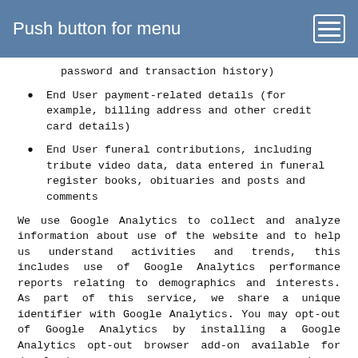Push button for menu
password and transaction history)
End User payment-related details (for example, billing address and other credit card details)
End User funeral contributions, including tribute video data, data entered in funeral register books, obituaries and posts and comments
We use Google Analytics to collect and analyze information about use of the website and to help us understand activities and trends, this includes use of Google Analytics performance reports relating to demographics and interests. As part of this service, we share a unique identifier with Google Analytics. You may opt-out of Google Analytics by installing a Google Analytics opt-out browser add-on available for download here: https://tools.google.com/dlpage/gaoptout.
How We Use Your Personal Information
We may use the personal information we collect for the following purposes: